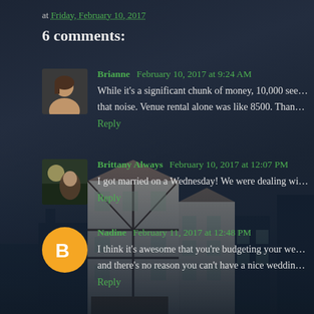at Friday, February 10, 2017
6 comments:
Brianne  February 10, 2017 at 9:24 AM
While it's a significant chunk of money, 10,000 seems totally rea... that noise. Venue rental alone was like 8500. Thanks but not than...
Reply
Brittany Always  February 10, 2017 at 12:07 PM
I got married on a Wednesday! We were dealing with college sche...
Reply
Nadine  February 11, 2017 at 12:48 PM
I think it's awesome that you're budgeting your wedding. Things... and there's no reason you can't have a nice wedding and still be ab...
Reply